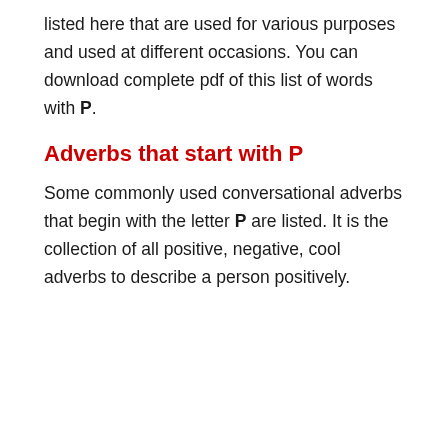listed here that are used for various purposes and used at different occasions. You can download complete pdf of this list of words with P.
Adverbs that start with P
Some commonly used conversational adverbs that begin with the letter P are listed. It is the collection of all positive, negative, cool adverbs to describe a person positively.